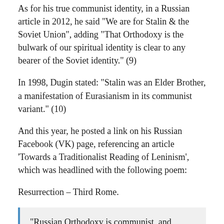As for his true communist identity, in a Russian article in 2012, he said “We are for Stalin & the Soviet Union”, adding “That Orthodoxy is the bulwark of our spiritual identity is clear to any bearer of the Soviet identity.” (9)
In 1998, Dugin stated: “Stalin was an Elder Brother, a manifestation of Eurasianism in its communist variant.” (10)
And this year, he posted a link on his Russian Facebook (VK) page, referencing an article ‘Towards a Traditionalist Reading of Leninism’, which was headlined with the following poem:
Resurrection – Third Rome.
“Russian Orthodoxy is communist, and Russian communism is Orthodox. As soon as they realize their deep unity, Russia will regain its former greatness.” (11)